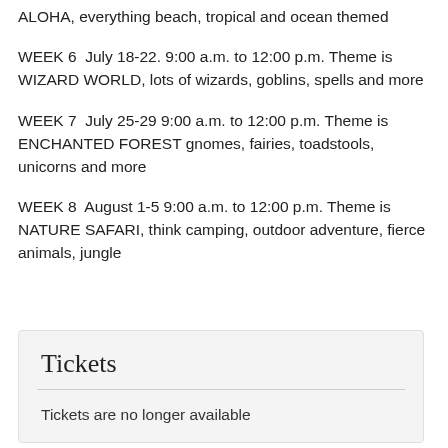ALOHA, everything beach, tropical and ocean themed
WEEK 6  July 18-22. 9:00 a.m. to 12:00 p.m. Theme is WIZARD WORLD, lots of wizards, goblins, spells and more
WEEK 7  July 25-29 9:00 a.m. to 12:00 p.m. Theme is ENCHANTED FOREST gnomes, fairies, toadstools, unicorns and more
WEEK 8  August 1-5 9:00 a.m. to 12:00 p.m. Theme is NATURE SAFARI, think camping, outdoor adventure, fierce animals, jungle
Tickets
Tickets are no longer available